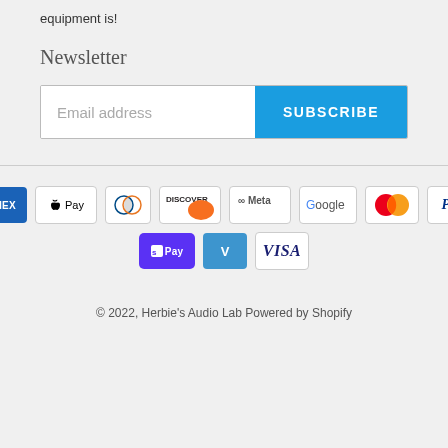equipment is!
Newsletter
Email address SUBSCRIBE
[Figure (other): Payment method logos: American Express, Apple Pay, Diners Club, Discover, Meta Pay, Google Pay, Mastercard, PayPal, Shop Pay, Venmo, Visa]
© 2022, Herbie's Audio Lab Powered by Shopify